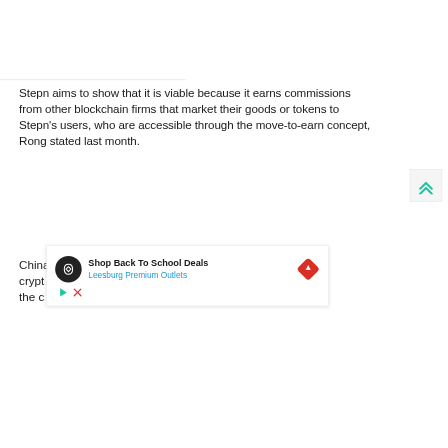Stepn aims to show that it is viable because it earns commissions from other blockchain firms that market their goods or tokens to Stepn's users, who are accessible through the move-to-earn concept, Rong stated last month.
China… crypt… , and the c… n
[Figure (other): Advertisement overlay: Shop Back To School Deals – Leesburg Premium Outlets, with navigation icon and ad controls (play, close)]